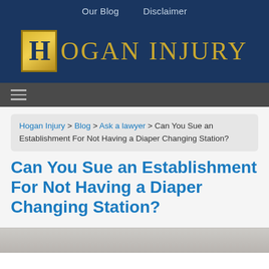Our Blog   Disclaimer
[Figure (logo): Hogan Injury law firm logo — gold H icon on dark blue background with text HOGAN INJURY in gold serif letters]
≡ (hamburger menu icon)
Hogan Injury > Blog > Ask a lawyer > Can You Sue an Establishment For Not Having a Diaper Changing Station?
Can You Sue an Establishment For Not Having a Diaper Changing Station?